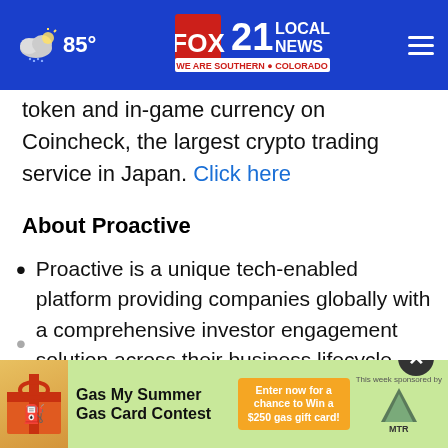Fox 21 Local News — We Are Southern Colorado | 85°
token and in-game currency on Coincheck, the largest crypto trading service in Japan. Click here
About Proactive
Proactive is a unique tech-enabled platform providing companies globally with a comprehensive investor engagement solution across their business lifecycle.
(second bullet, partially visible / obscured by ad)
[Figure (screenshot): Advertisement banner: Gas My Summer Gas Card Contest — Enter now for a chance to Win a $250 gas gift card! This week sponsored by MTR.]